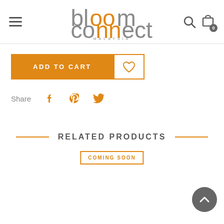Bloom Connect Malaysia — navigation header with logo, hamburger menu, search and cart icons
ADD TO CART
Share
RELATED PRODUCTS
COMING SOON